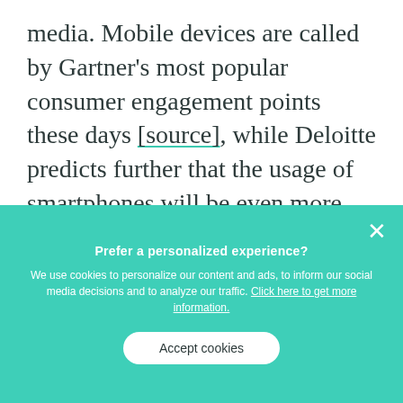media. Mobile devices are called by Gartner's most popular consumer engagement points these days [source], while Deloitte predicts further that the usage of smartphones will be even more extensive. [source] The real change, however, comes with the fact that more interesting formats can be embedded in communication, such as personalized videos or presentations. Videos have gained much
Prefer a personalized experience? We use cookies to personalize our content and ads, to inform our social media decisions and to analyze our traffic. Click here to get more information. Accept cookies